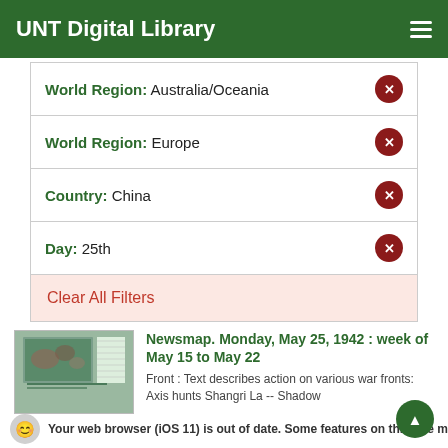UNT Digital Library
World Region: Australia/Oceania
World Region: Europe
Country: China
Day: 25th
Clear All Filters
Newsmap. Monday, May 25, 1942 : week of May 15 to May 22
Front : Text describes action on various war fronts: Axis hunts Shangri La -- Shadow
Your web browser (iOS 11) is out of date. Some features on this site may not work.